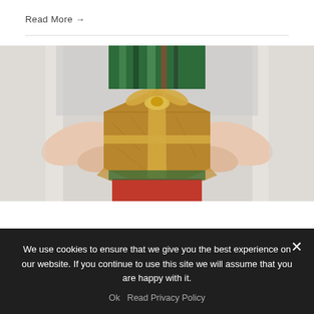Read More →
[Figure (photo): A woman in a striped green, red, and black dress holding a wrapped brown gift box with a gold ribbon and bow, presented with both hands toward the viewer. Background is blurred and light-toned.]
We use cookies to ensure that we give you the best experience on our website. If you continue to use this site we will assume that you are happy with it.
Ok   Read Privacy Policy